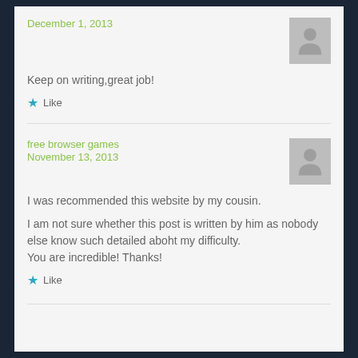December 1, 2013
Keep on writing,great job!
Like
free browser games
November 13, 2013
I was recommended this website by my cousin.

I am not sure whether this post is written by him as nobody else know such detailed aboht my difficulty.
You are incredible! Thanks!
Like